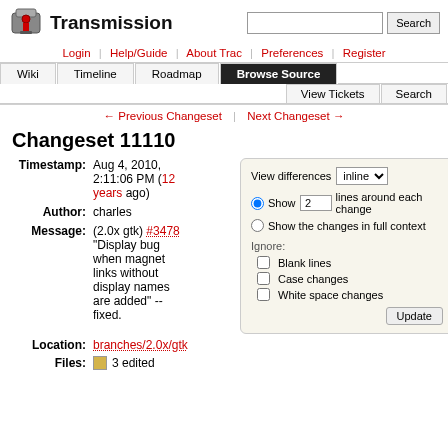Transmission — Wiki | Timeline | Roadmap | Browse Source | View Tickets | Search
← Previous Changeset | Next Changeset →
Changeset 11110
Timestamp: Aug 4, 2010, 2:11:06 PM (12 years ago)
Author: charles
Message: (2.0x gtk) #3478 "Display bug when magnet links without display names are added" -- fixed.
Location: branches/2.0x/gtk
Files: 3 edited
[Figure (screenshot): View differences panel with inline dropdown, Show 2 lines around each change radio, Show the changes in full context radio, Ignore checkboxes for Blank lines/Case changes/White space changes, Update button]